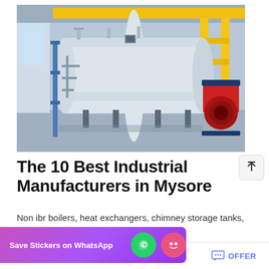[Figure (photo): Industrial boiler in a factory setting. Large white cylindrical boiler with red burner assembly on the right side, yellow overhead pipes and supports, blue structural frame, various pipes and controls, industrial floor.]
The 10 Best Industrial Manufacturers in Mysore
Non ibr boilers, heat exchangers, chimney storage tanks, manufacture and suply of ibr boilers, els. 5 - Mysore Thinners And